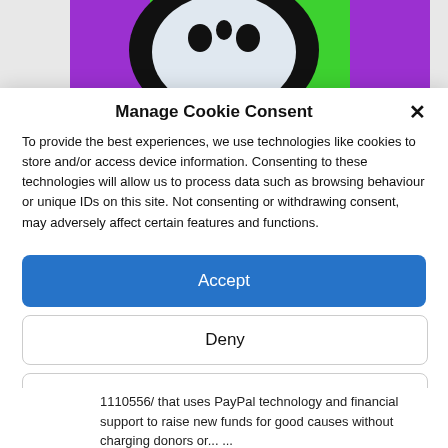[Figure (illustration): Colorful website header image with purple, green, black and white design elements visible at the top of the page behind the cookie consent modal.]
Manage Cookie Consent
To provide the best experiences, we use technologies like cookies to store and/or access device information. Consenting to these technologies will allow us to process data such as browsing behaviour or unique IDs on this site. Not consenting or withdrawing consent, may adversely affect certain features and functions.
Accept
Deny
View preferences
Cookie Policy   Privacy & Cookie Policy, Terms of Use
1110556/ that uses PayPal technology and financial support to raise new funds for good causes without charging donors or... ...